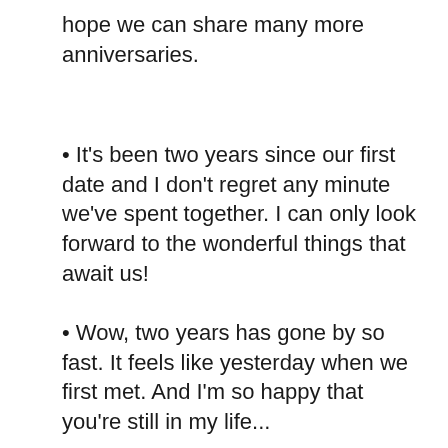hope we can share many more anniversaries.
It’s been two years since our first date and I don’t regret any minute we’ve spent together. I can only look forward to the wonderful things that await us!
Wow, two years has gone by so fast. It feels like yesterday when we first met. And I’m so happy that you’re still in my life...